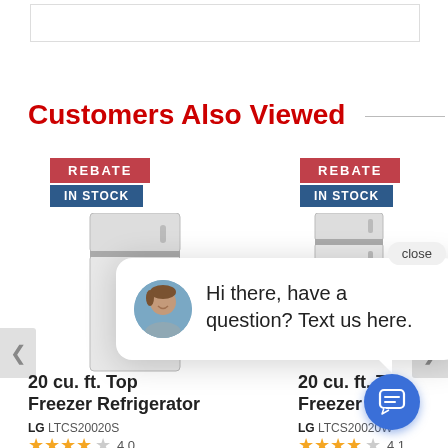[Figure (screenshot): Top border box element, partial UI element at top of page]
Customers Also Viewed
[Figure (photo): Left product: refrigerator with REBATE and IN STOCK badges]
[Figure (photo): Right product: refrigerator with REBATE and IN STOCK badges]
[Figure (screenshot): Chat popup with avatar: Hi there, have a question? Text us here.]
20 cu. ft. Top Freezer Refrigerator
LG LTCS20020S
4.0
20 cu. ft. Top Freezer Refrig
LG LTCS20020W
4.1